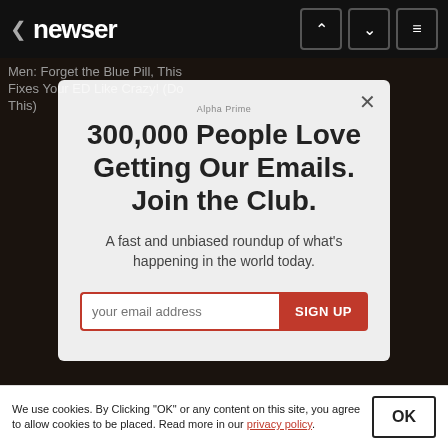newser
Men: Forget the Blue Pill, This Fixes Your ED Like Crazy! (Do This)
[Figure (screenshot): Newser website modal popup for email newsletter signup over a blurred background image]
Alpha Prime
300,000 People Love Getting Our Emails. Join the Club.
A fast and unbiased roundup of what's happening in the world today.
your email address   SIGN UP
We use cookies. By Clicking "OK" or any content on this site, you agree to allow cookies to be placed. Read more in our privacy policy.
OK